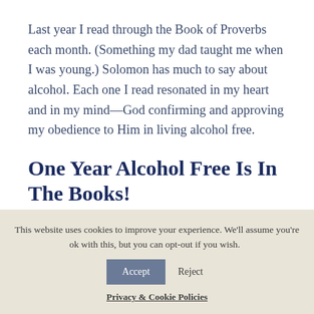Last year I read through the Book of Proverbs each month. (Something my dad taught me when I was young.) Solomon has much to say about alcohol. Each one I read resonated in my heart and in my mind—God confirming and approving my obedience to Him in living alcohol free.
One Year Alcohol Free Is In The Books!
This website uses cookies to improve your experience. We'll assume you're ok with this, but you can opt-out if you wish.
Privacy & Cookie Policies